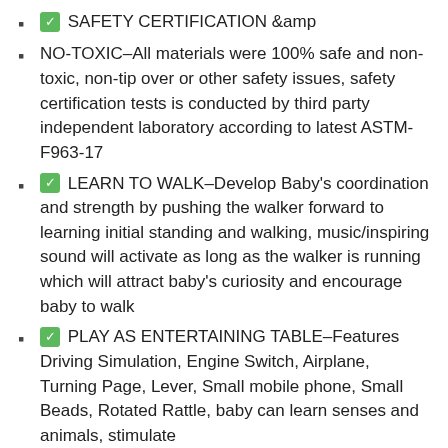✅ SAFETY CERTIFICATION &amp
NO-TOXIC–All materials were 100% safe and non-toxic, non-tip over or other safety issues, safety certification tests is conducted by third party independent laboratory according to latest ASTM-F963-17
✅ LEARN TO WALK–Develop Baby's coordination and strength by pushing the walker forward to learning initial standing and walking, music/inspiring sound will activate as long as the walker is running which will attract baby's curiosity and encourage baby to walk
✅ PLAY AS ENTERTAINING TABLE–Features Driving Simulation, Engine Switch, Airplane, Turning Page, Lever, Small mobile phone, Small Beads, Rotated Rattle, baby can learn senses and animals, stimulate